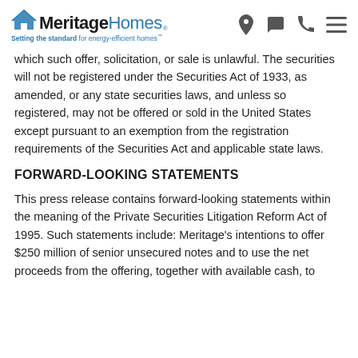Meritage Homes — Setting the standard for energy-efficient homes
which such offer, solicitation, or sale is unlawful. The securities will not be registered under the Securities Act of 1933, as amended, or any state securities laws, and unless so registered, may not be offered or sold in the United States except pursuant to an exemption from the registration requirements of the Securities Act and applicable state laws.
FORWARD-LOOKING STATEMENTS
This press release contains forward-looking statements within the meaning of the Private Securities Litigation Reform Act of 1995. Such statements include: Meritage's intentions to offer $250 million of senior unsecured notes and to use the net proceeds from the offering, together with available cash, to